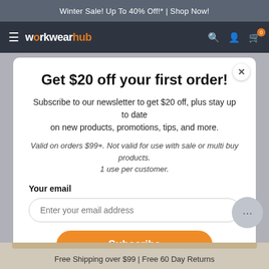Winter Sale! Up To 40% Off!* | Shop Now!
workwearhub — navigation bar with hamburger menu, search, account, cart (0)
Get $20 off your first order!
Subscribe to our newsletter to get $20 off, plus stay up to date on new products, promotions, tips, and more.
Valid on orders $99+. Not valid for use with sale or multi buy products. 1 use per customer.
Your email
Enter your email address
Subscribe
Free Shipping over $99 | Free 60 Day Returns